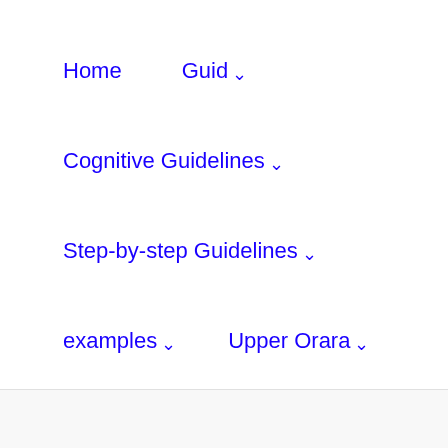Home
Guid ˅
Cognitive Guidelines ˅
Step-by-step Guidelines ˅
examples ˅
Upper Orara ˅
Contacts